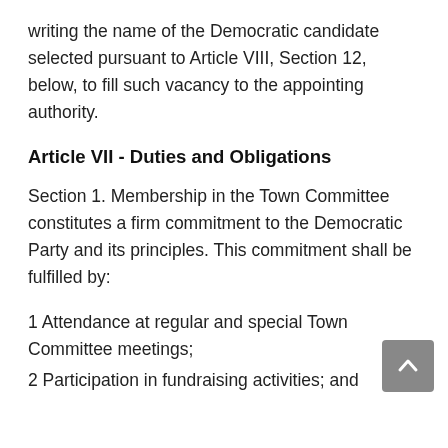writing the name of the Democratic candidate selected pursuant to Article VIII, Section 12, below, to fill such vacancy to the appointing authority.
Article VII - Duties and Obligations
Section 1. Membership in the Town Committee constitutes a firm commitment to the Democratic Party and its principles. This commitment shall be fulfilled by:
1 Attendance at regular and special Town Committee meetings;
2 Participation in fundraising activities; and